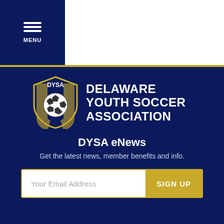[Figure (logo): Hamburger menu icon with three horizontal lines and MENU text below, white on dark navy background]
[Figure (logo): DYSA shield logo with soccer ball and yellow/blue stripes next to 'DELAWARE YOUTH SOCCER ASSOCIATION' text in white on navy background]
DYSA eNews
Get the latest news, member benefits and info.
Your Email Address  SIGN UP
© 2022 Delaware Youth Soccer. All Rights Reserved.
Website Design and development by Americaneagle.com